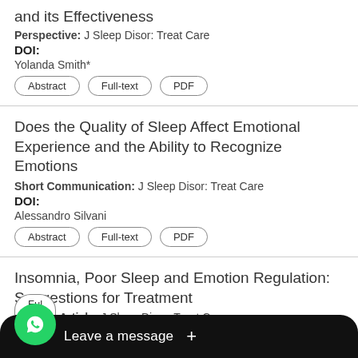and its Effectiveness
Perspective: J Sleep Disor: Treat Care
DOI:
Yolanda Smith*
Does the Quality of Sleep Affect Emotional Experience and the Ability to Recognize Emotions
Short Communication: J Sleep Disor: Treat Care
DOI:
Alessandro Silvani
Insomnia, Poor Sleep and Emotion Regulation: Suggestions for Treatment
Opinion Article: J Sleep Disor: Treat Care
[Figure (other): WhatsApp floating button and Leave a message overlay bar at bottom of screen]